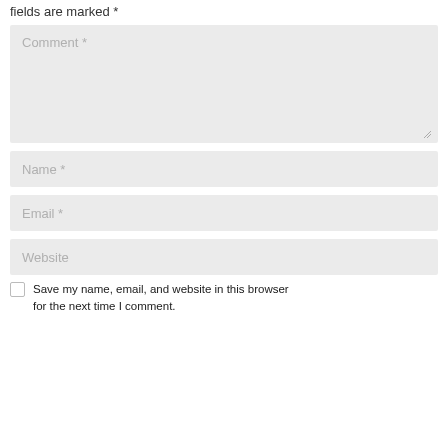fields are marked *
[Figure (screenshot): Comment form with textarea placeholder 'Comment *', input fields for 'Name *', 'Email *', 'Website', and a checkbox with label 'Save my name, email, and website in this browser for the next time I comment.']